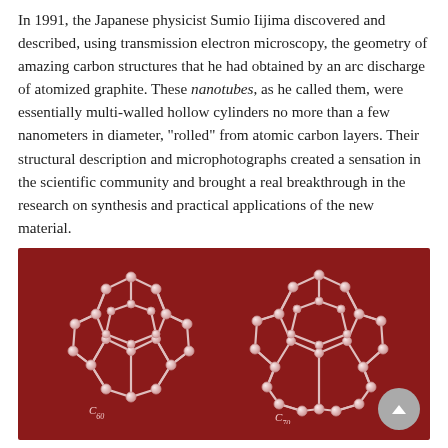In 1991, the Japanese physicist Sumio Iijima discovered and described, using transmission electron microscopy, the geometry of amazing carbon structures that he had obtained by an arc discharge of atomized graphite. These nanotubes, as he called them, were essentially multi-walled hollow cylinders no more than a few nanometers in diameter, "rolled" from atomic carbon layers. Their structural description and microphotographs created a sensation in the scientific community and brought a real breakthrough in the research on synthesis and practical applications of the new material.
[Figure (photo): Scientific illustration on a dark red background showing two fullerene molecular structures side by side: C60 (left, smaller) and C70 (right, larger), rendered as white/pink cage-like spherical networks with nodes at each carbon atom position.]